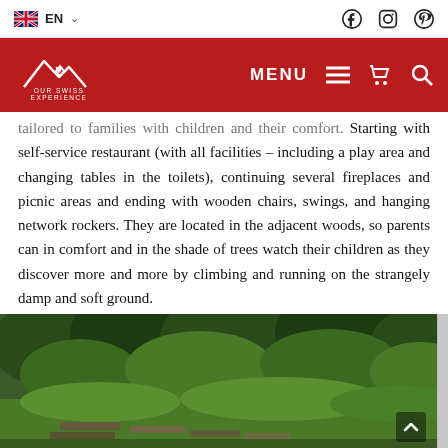EN | Social media icons (Facebook, Instagram, Pinterest)
OUR SWISS EXPERIENCE — MENU
tailored to families with children and their comfort. Starting with self-service restaurant (with all facilities – including a play area and changing tables in the toilets), continuing several fireplaces and picnic areas and ending with wooden chairs, swings, and hanging network rockers. They are located in the adjacent woods, so parents can in comfort and in the shade of trees watch their children as they discover more and more by climbing and running on the strangely damp and soft ground.
[Figure (photo): Outdoor woodland scene with green trees, bushes and what appears to be a wooden path or structure in the foreground on damp ground.]